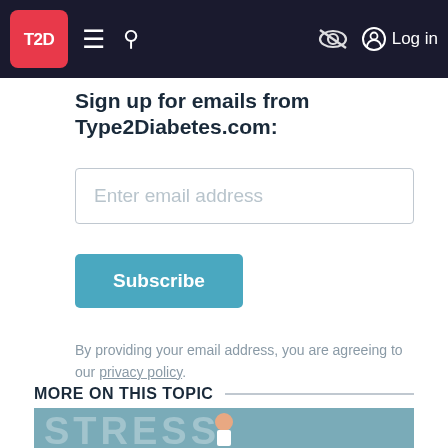T2D | Sign up for emails from Type2Diabetes.com
Sign up for emails from Type2Diabetes.com:
Enter email address
Subscribe
By providing your email address, you are agreeing to our privacy policy.
MORE ON THIS TOPIC
[Figure (illustration): Cartoon illustration of a stressed man holding his head with STRESS text in the background on a teal/grey background]